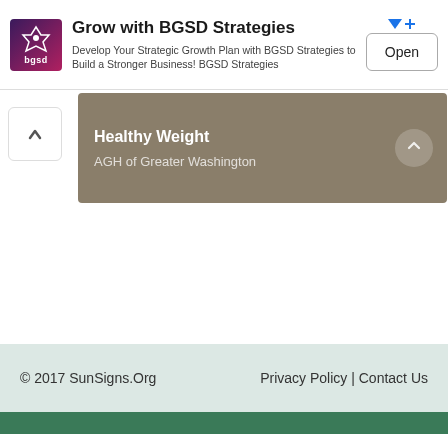[Figure (infographic): BGSD Strategies advertisement banner with logo, title 'Grow with BGSD Strategies', description text, and Open button]
Healthy Weight
AGH of Greater Washington
© 2017 SunSigns.Org    Privacy Policy | Contact Us